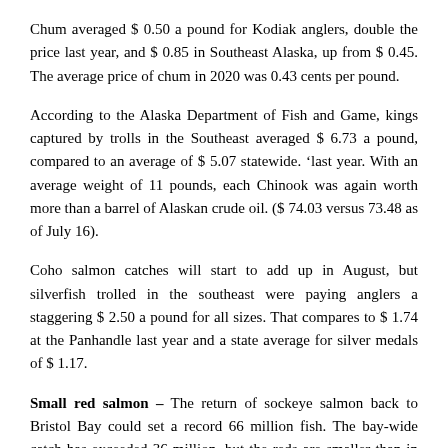Chum averaged $ 0.50 a pound for Kodiak anglers, double the price last year, and $ 0.85 in Southeast Alaska, up from $ 0.45. The average price of chum in 2020 was 0.43 cents per pound.
According to the Alaska Department of Fish and Game, kings captured by trolls in the Southeast averaged $ 6.73 a pound, compared to an average of $ 5.07 statewide. 'last year. With an average weight of 11 pounds, each Chinook was again worth more than a barrel of Alaskan crude oil. ($ 74.03 versus 73.48 as of July 16).
Coho salmon catches will start to add up in August, but silverfish trolled in the southeast were paying anglers a staggering $ 2.50 a pound for all sizes. That compares to $ 1.74 at the Panhandle last year and a state average for silver medals of $ 1.17.
Small red salmon – The return of sockeye salmon back to Bristol Bay could set a record 66 million fish. The bay-wide catch has exceeded 36 million, but the reds are smaller than in previous years.
The average height this summer is 4.5 pounds compared to 5.1 pounds